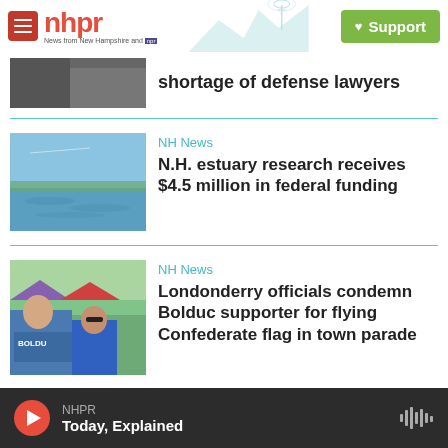NHPR - News from New Hampshire and NPR | Support
[Figure (photo): Partial image of news article at top (cropped, appears to be outdoor scene)]
shortage of defense lawyers
[Figure (photo): Photo of a calm water estuary or lake with blue sky]
NH News
N.H. estuary research receives $4.5 million in federal funding
[Figure (photo): Photo of a man in a blue Bolduc t-shirt at a crowded outdoor event]
NH News
Londonderry officials condemn Bolduc supporter for flying Confederate flag in town parade
NHPR — Today, Explained